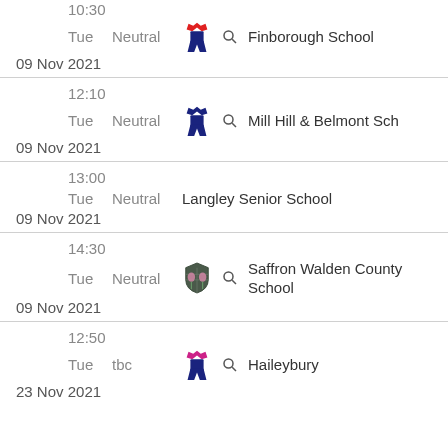| Time | Day | Venue | Kit | School | Date |
| --- | --- | --- | --- | --- | --- |
| 10:30 | Tue | Neutral | [red/blue kit] | Finborough School | 09 Nov 2021 |
| 12:10 | Tue | Neutral | [blue kit] | Mill Hill & Belmont Sch | 09 Nov 2021 |
| 13:00 | Tue | Neutral |  | Langley Senior School | 09 Nov 2021 |
| 14:30 | Tue | Neutral | [shield badge] | Saffron Walden County School | 09 Nov 2021 |
| 12:50 | Tue | tbc | [pink/navy kit] | Haileybury | 23 Nov 2021 |